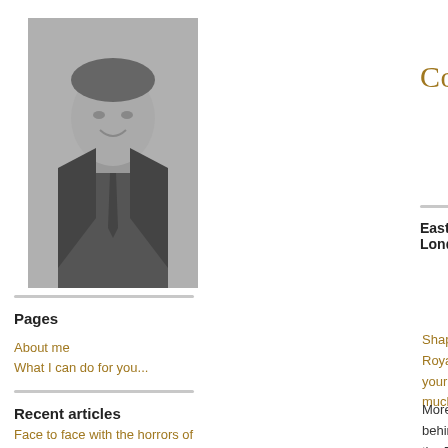[Figure (photo): Black and white portrait photo of a middle-aged man in a suit and tie, smiling]
Colin Grainger
Pages
About me
What I can do for you...
Recent articles
Face to face with the horrors of war as a young man in the Royal Docks
Tenpin bowlers strike out for charity Ambition, Aspire,
East London
[Figure (photo): Colour photograph of a street scene with a brick building]
Shape Royal your m much-
More n behind the Ro